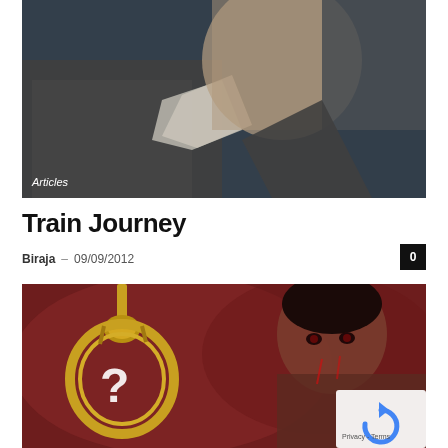[Figure (photo): Black and white close-up photo of a man in a suit with white shirt, looking down, against a dark blue background. Label 'Articles' visible in bottom-left corner.]
Train Journey
Biraja – 09/09/2012
[Figure (photo): Dark reddish-toned image showing a hangman's noose on the left with a white question mark on it, and a distressed man on the right side, partially cut off.]